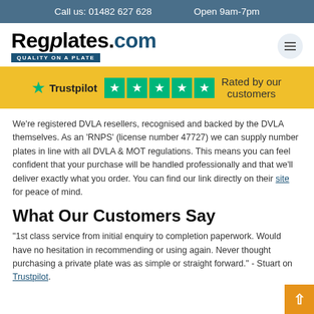Call us: 01482 627 628    Open 9am-7pm
[Figure (logo): Regplates.com logo with tagline QUALITY ON A PLATE and hamburger menu icon]
[Figure (infographic): Trustpilot banner with 5 green star boxes and text: Rated by our customers]
We’re registered DVLA resellers, recognised and backed by the DVLA themselves. As an ‘RNPS’ (license number 47727) we can supply number plates in line with all DVLA & MOT regulations. This means you can feel confident that your purchase will be handled professionally and that we’ll deliver exactly what you order. You can find our link directly on their site for peace of mind.
What Our Customers Say
“1st class service from initial enquiry to completion paperwork. Would have no hesitation in recommending or using again. Never thought purchasing a private plate was as simple or straight forward.” - Stuart on Trustpilot.